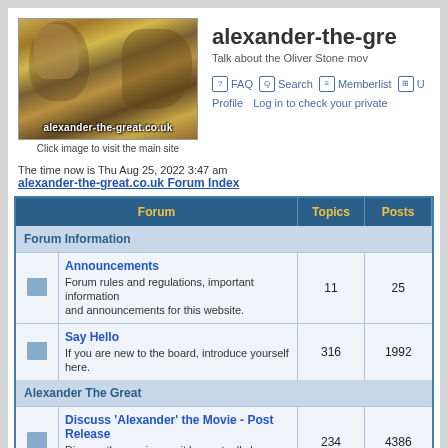[Figure (illustration): Alexander the Great mosaic/artwork image with 'alexander-the-great.co.uk' watermark text overlay]
Click image to visit the main site
alexander-the-gre...
Talk about the Oliver Stone mov...
FAQ  Search  Memberlist  U...
Profile    Log in to check your private...
The time now is Thu Aug 25, 2022 3:47 am
alexander-the-great.co.uk Forum Index
| Forum | Topics | Posts |
| --- | --- | --- |
| Forum Information |  |  |
| Announcements
Forum rules and regulations, important information and announcements for this website. | 11 | 25 |
| Say Hello
If you are new to the board, introduce yourself here. | 316 | 1992 |
| Alexander The Great |  |  |
| Discuss 'Alexander' the Movie - Post Release
Discuss the movie now it has actually been released. | 234 | 4386 |